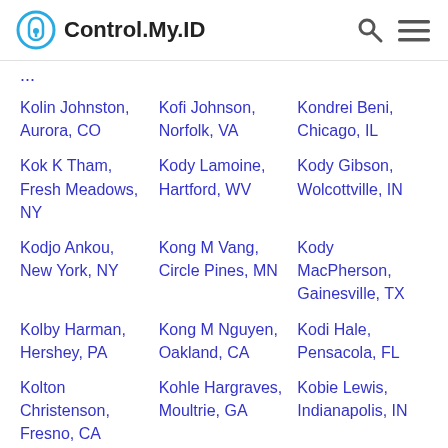Control.My.ID
...
Kolin Johnston, Aurora, CO
Kofi Johnson, Norfolk, VA
Kondrei Beni, Chicago, IL
Kok K Tham, Fresh Meadows, NY
Kody Lamoine, Hartford, WV
Kody Gibson, Wolcottville, IN
Kodjo Ankou, New York, NY
Kong M Vang, Circle Pines, MN
Kody MacPherson, Gainesville, TX
Kolby Harman, Hershey, PA
Kong M Nguyen, Oakland, CA
Kodi Hale, Pensacola, FL
Kolton Christenson, Fresno, CA
Kohle Hargraves, Moultrie, GA
Kobie Lewis, Indianapolis, IN